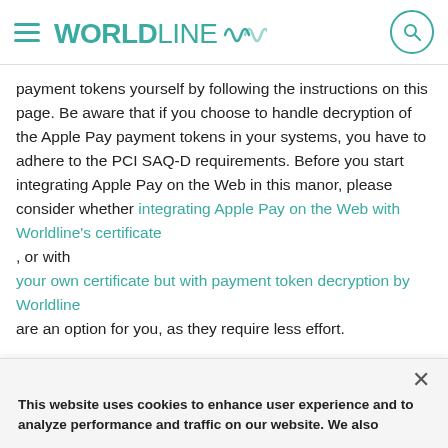WORLDLINE (logo with wave icon and search icon)
payment tokens yourself by following the instructions on this page. Be aware that if you choose to handle decryption of the Apple Pay payment tokens in your systems, you have to adhere to the PCI SAQ-D requirements. Before you start integrating Apple Pay on the Web in this manor, please consider whether integrating Apple Pay on the Web with Worldline's certificate , or with your own certificate but with payment token decryption by Worldline are an option for you, as they require less effort.
This website uses cookies to enhance user experience and to analyze performance and traffic on our website. We also